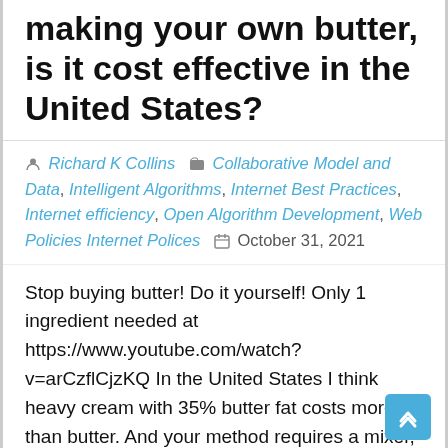Comment on a video about making your own butter, is it cost effective in the United States?
Richard K Collins  Collaborative Model and Data, Intelligent Algorithms, Internet Best Practices, Internet efficiency, Open Algorithm Development, Web Policies Internet Polices  October 31, 2021
Stop buying butter! Do it yourself! Only 1 ingredient needed at https://www.youtube.com/watch?v=arCzflCjzKQ In the United States I think heavy cream with 35% butter fat costs more than butter. And your method requires a mixer, blender, bowls and utensils. So